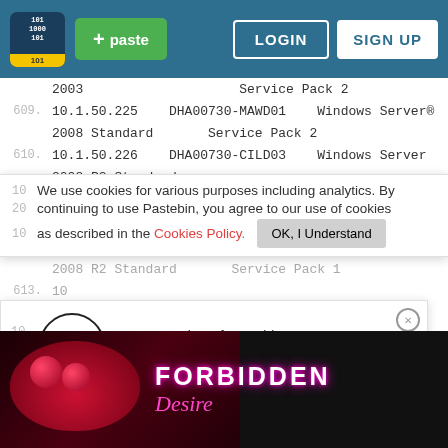[Figure (screenshot): Pastebin website navigation bar with logo, green paste button, LOGIN and SIGN UP buttons on dark teal background]
2003                    Service Pack 2
609.  10.1.50.225    DHA00730-MAWD01    Windows Server® 2008 Standard       Service Pack 2
610.  10.1.50.226    DHA00730-CILD03    Windows Server 2008 R2 Standard
611.  10  We use cookies for various purposes including analytics. By
      20  continuing to use Pastebin, you agree to our use of cookies
612.  10  as described in the Cookies Policy.   OK, I Understand
2008 R2 Standard       Service Pack 1
613.  10
      20  Not a member of Pastebin yet?
         Sign Up, it unlocks many cool features!
         10
Service Pack 2
[Figure (photo): Advertisement banner: Forbidden Desire with lips/cherry imagery on dark background]